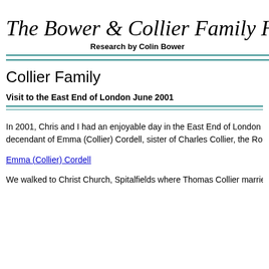The Bower & Collier Family H…
Research by Colin Bower
Collier Family
Visit to the East End of London June 2001
In 2001, Chris and I had an enjoyable day in the East End of London with Chris' cousin Ma… decendant of Emma (Collier) Cordell, sister of Charles Collier, the Ropemaker (Chris' ance…
Emma (Collier) Cordell
We walked to Christ Church, Spitalfields where Thomas Collier married Mary Kemp (Hugue…